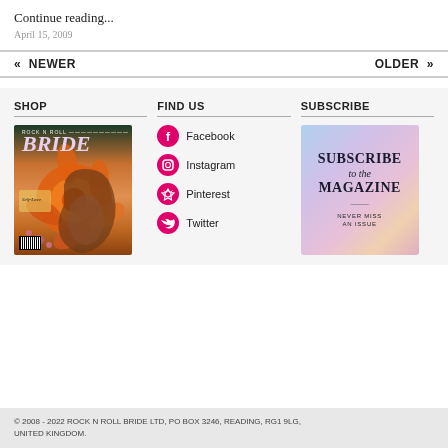Continue reading...
April 15, 2009
« NEWER
OLDER »
SHOP
[Figure (photo): Rock N Roll Bride magazine cover featuring a woman holding a large orange flower in front of her face]
FIND US
Facebook
Instagram
Pinterest
Twitter
SUBSCRIBE
[Figure (illustration): Subscribe to the Magazine - Never Miss an Issue banner with pastel gradient background]
© 2008 - 2022 ROCK N ROLL BRIDE LTD, PO BOX 3246, READING, RG1 9LG, UNITED KINGDOM.